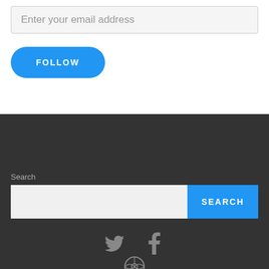Enter your email address
FOLLOW
Search
SEARCH
[Figure (illustration): Twitter bird icon, Facebook 'f' icon, and WordPress logo icon in dark gray color on dark background]